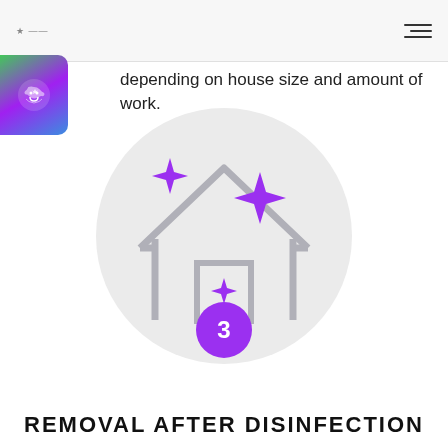logo / hamburger menu
depending on house size and amount of work.
[Figure (illustration): Circular light-gray background with a house outline in gray and purple sparkle/star icons indicating cleanliness. A purple circle with the number 3 is at the bottom center of the illustration.]
REMOVAL AFTER DISINFECTION